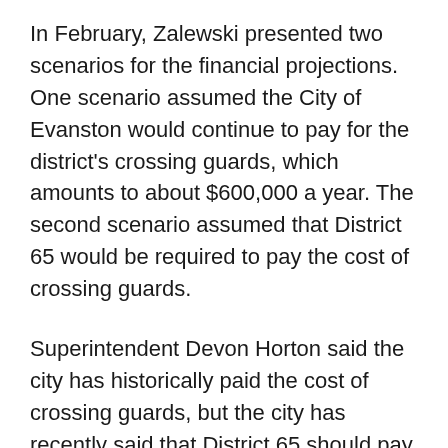In February, Zalewski presented two scenarios for the financial projections. One scenario assumed the City of Evanston would continue to pay for the district's crossing guards, which amounts to about $600,000 a year. The second scenario assumed that District 65 would be required to pay the cost of crossing guards.
Superintendent Devon Horton said the city has historically paid the cost of crossing guards, but the city has recently said that District 65 should pay the cost and city officials were not interested in a proposal made by District 65 administrators to phase in the cost over several years. “So we have to